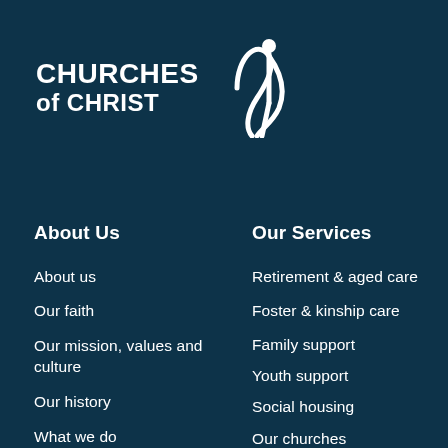[Figure (logo): Churches of Christ logo with stylized cross/figure icon in white on dark navy background]
About Us
About us
Our faith
Our mission, values and culture
Our history
What we do
Our Services
Retirement & aged care
Foster & kinship care
Family support
Youth support
Social housing
Our churches